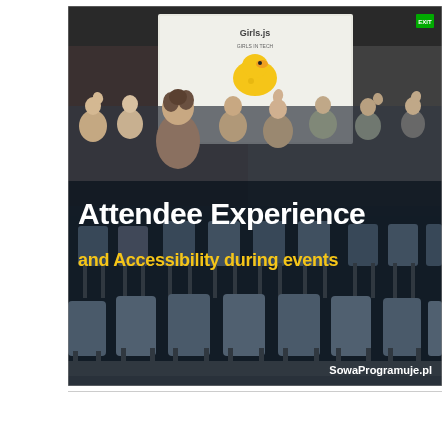[Figure (photo): Photo of a group of smiling women waving at a Girls.js tech event, seated in a conference room with dark chairs. A whiteboard with a yellow rubber duck logo is visible in the background. The image has text overlaid: 'Attendee Experience' in white bold text and 'and Accessibility during events' in yellow/orange bold text. Bottom right corner shows 'SowaProgramuje.pl' watermark.]